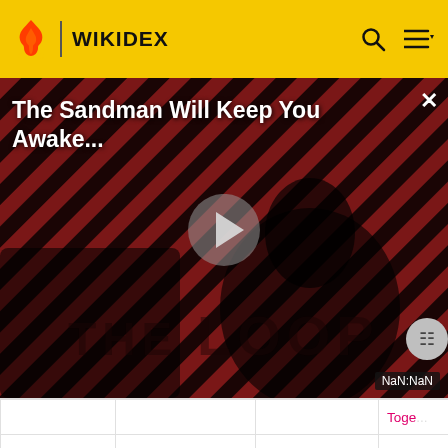WIKIDEX
[Figure (screenshot): Video player overlay for 'The Sandman Will Keep You Awake...' with a dark figure in a striped red/black background, a large play button in the center, 'THE LOOP' text at the bottom, a close (X) button top-right, and a NaN:NaN time display bottom-right.]
|  |  |  | Toge... |
| --- | --- | --- | --- |
| Piel tosca
Rough Skin | Hiere al hacer contacto. | Carvanha, Sharpedo | D... |
| Polvo escudo | Anula el efecto, | Caterpie, | Veno... |